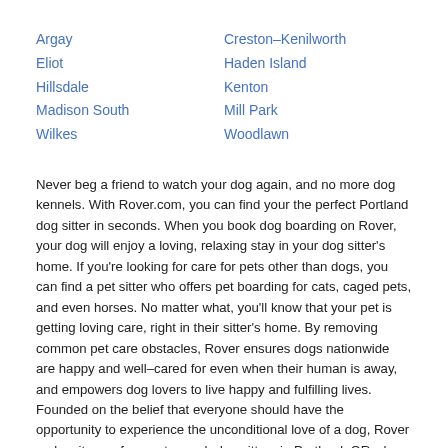Argay
Eliot
Hillsdale
Madison South
Wilkes
Creston–Kenilworth
Haden Island
Kenton
Mill Park
Woodlawn
Never beg a friend to watch your dog again, and no more dog kennels. With Rover.com, you can find your the perfect Portland dog sitter in seconds. When you book dog boarding on Rover, your dog will enjoy a loving, relaxing stay in your dog sitter's home. If you're looking for care for pets other than dogs, you can find a pet sitter who offers pet boarding for cats, caged pets, and even horses. No matter what, you'll know that your pet is getting loving care, right in their sitter's home. By removing common pet care obstacles, Rover ensures dogs nationwide are happy and well–cared for even when their human is away, and empowers dog lovers to live happy and fulfilling lives. Founded on the belief that everyone should have the opportunity to experience the unconditional love of a dog, Rover makes it easy for you to reach dog sitters in Portland, OR who can provide the care your dog needs, when they need it.
The price of dog boarding in Portland, OR might not be as much as you think. When you use Rover, you'll find a...